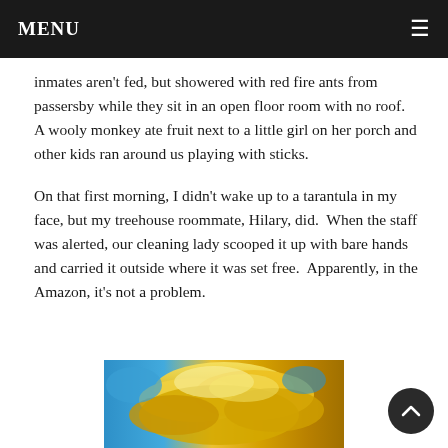MENU
inmates aren't fed, but showered with red fire ants from passersby while they sit in an open floor room with no roof.  A wooly monkey ate fruit next to a little girl on her porch and other kids ran around us playing with sticks.
On that first morning, I didn't wake up to a tarantula in my face, but my treehouse roommate, Hilary, did.  When the staff was alerted, our cleaning lady scooped it up with bare hands and carried it outside where it was set free.  Apparently, in the Amazon, it's not a problem.
[Figure (photo): Photograph showing a dramatic sky with bright yellow and golden clouds against a blue sky background]